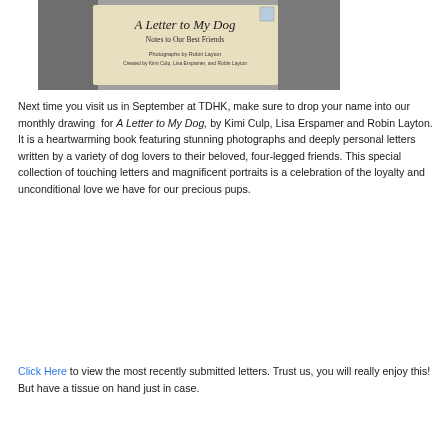[Figure (photo): Book cover photo of 'A Letter to My Dog: Notes to Our Best Friends' by Kimi Culp, Lisa Erspamer, and Robin Layton, shown against a blurry background.]
Next time you visit us in September at TDHK, make sure to drop your name into our monthly drawing for A Letter to My Dog, by Kimi Culp, Lisa Erspamer and Robin Layton. It is a heartwarming book featuring stunning photographs and deeply personal letters written by a variety of dog lovers to their beloved, four-legged friends. This special collection of touching letters and magnificent portraits is a celebration of the loyalty and unconditional love we have for our precious pups.
Click Here to view the most recently submitted letters. Trust us, you will really enjoy this! But have a tissue on hand just in case.